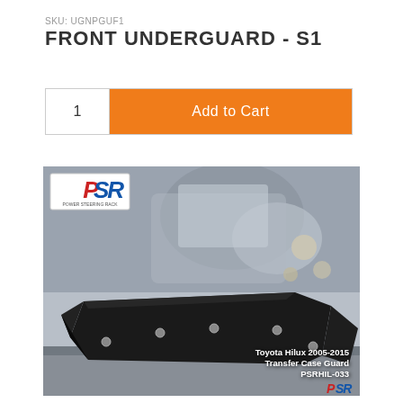SKU: UGNPGUF1
FRONT UNDERGUARD - S1
1   Add to Cart
[Figure (photo): Photo of a Toyota Hilux 2005-2015 Transfer Case Guard (PSRHIL-033) — a black steel underguard component shown installed under a vehicle chassis. PSR brand logo appears in the upper-left corner of the image and lower-right corner. Overlaid caption reads 'Toyota Hilux 2005-2015 Transfer Case Guard PSRHIL-033'.]